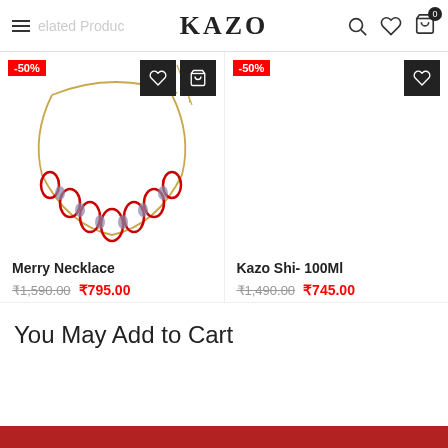Related Products — KAZO
[Figure (photo): Merry Necklace product photo: gold chain necklace with red crystal teardrop pendants]
Merry Necklace
₹1,590.00 ₹795.00
[Figure (photo): Kazo Shi- 100Ml product photo (not visible, placeholder area)]
Kazo Shi- 100Ml
₹1,490.00 ₹745.00
You May Add to Cart